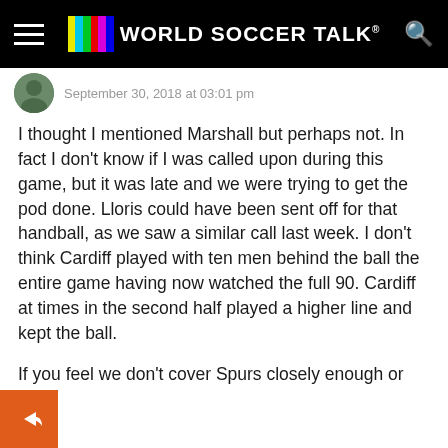World Soccer Talk
September 30, 2018 at 03:01 pm
I thought I mentioned Marshall but perhaps not. In fact I don't know if I was called upon during this game, but it was late and we were trying to get the pod done. Lloris could have been sent off for that handball, as we saw a similar call last week. I don't think Cardiff played with ten men behind the ball the entire game having now watched the full 90. Cardiff at times in the second half played a higher line and kept the ball.
If you feel we don't cover Spurs closely enough or are too biased towards Arsenal (an accusation you and some other Spurs fans have made towards me which conveniently ignores that Arsenal has finished ahead of Spurs for 17 consecutive seasons and with that they have earned some deference when compared to Spurs)we'd love to have you me on the podcast. Your points are well taken on this ne. But understand with PSG-Monaco the biggest game